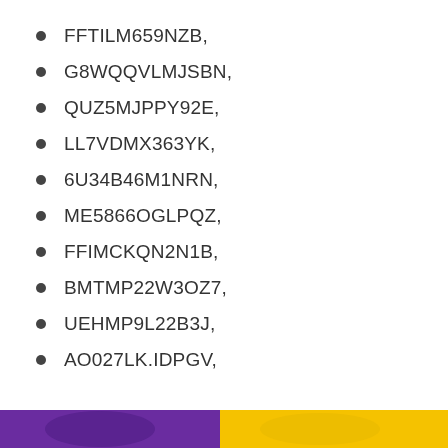FFTILM659NZB,
G8WQQVLMJSBN,
QUZ5MJPPY92E,
LL7VDMX363YK,
6U34B46M1NRN,
ME5866OGLPQZ,
FFIMCKQN2N1B,
BMTMP22W3OZ7,
UEHMP9L22B3J,
AO027LK.IDPGV,
[Figure (illustration): Colorful banner image at the bottom of the page with purple and yellow/orange sections]